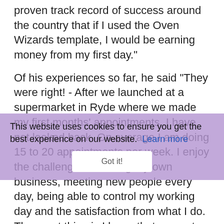proven track record of success around the country that if I used the Oven Wizards template, I would be earning money from my first day."
Of his experiences so far, he said “They were right! -  After we launched at a supermarket in Ryde where we made my first months’ appointments, I have not looked back. On average I am doing 15 to 20 appointments per week. I enjoy the challenge of running my own business, meeting new people every day, being able to control my working day and the satisfaction from what I do. The great thing is I know that support from Oven Wizards is there bits and when I need it.
This website uses cookies to ensure you get the best experience on our website. Learn more
Warwick concluded, “If you want a proven Franchise, enjoy hard work, meeting people and controlling your own business and lifestyle